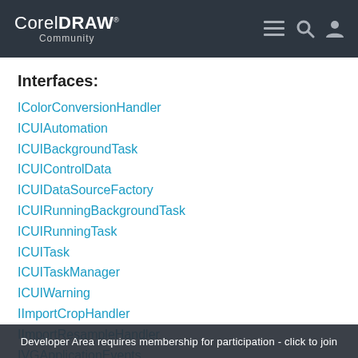CorelDRAW Community
Interfaces:
IColorConversionHandler
ICUIAutomation
ICUIBackgroundTask
ICUIControlData
ICUIDataSourceFactory
ICUIRunningBackgroundTask
ICUIRunningTask
ICUITask
ICUITaskManager
ICUIWarning
IImportCropHandler
IImportResampleHandler
IVGApplicationEvents
IVGAppPlugin
IVGDocumentEvents
Enums:
AIVersion
BmpVersion
cdrAddinFilter
Developer Area requires membership for participation - click to join